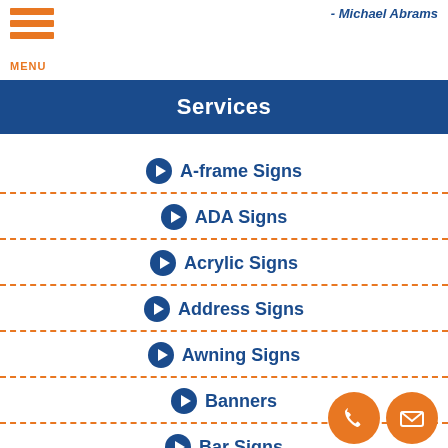- Michael Abrams
Services
A-frame Signs
ADA Signs
Acrylic Signs
Address Signs
Awning Signs
Banners
Bar Signs